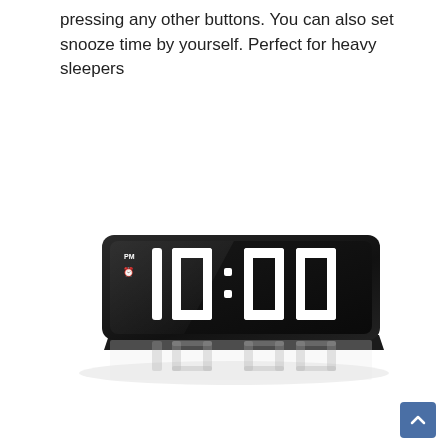pressing any other buttons. You can also set snooze time by yourself. Perfect for heavy sleepers
[Figure (photo): A black digital alarm clock displaying 10:00 in large white LED digits on a mirror-finish surface, with PM and alarm indicators on the left side. The clock has a rectangular black body and casts a reflection below it.]